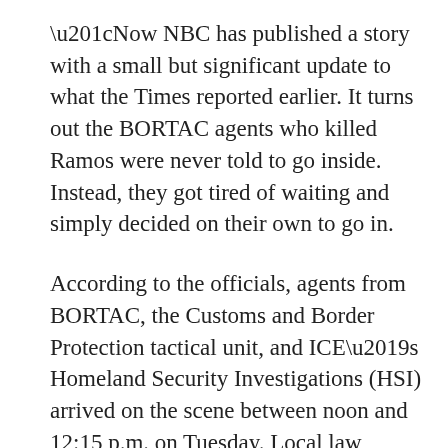“Now NBC has published a story with a small but significant update to what the Times reported earlier. It turns out the BORTAC agents who killed Ramos were never told to go inside. Instead, they got tired of waiting and simply decided on their own to go in.
According to the officials, agents from BORTAC, the Customs and Border Protection tactical unit, and ICE’s Homeland Security Investigations (HSI) arrived on the scene between noon and 12:15 p.m. on Tuesday. Local law enforcement asked them to wait, and then